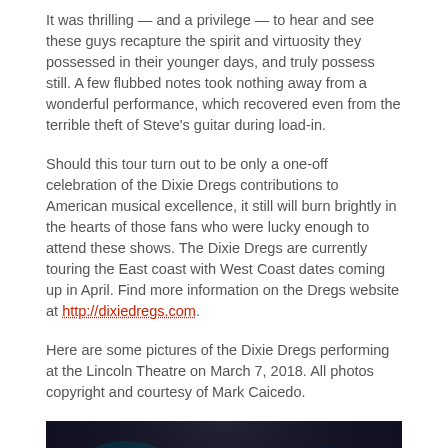It was thrilling — and a privilege — to hear and see these guys recapture the spirit and virtuosity they possessed in their younger days, and truly possess still. A few flubbed notes took nothing away from a wonderful performance, which recovered even from the terrible theft of Steve's guitar during load-in.
Should this tour turn out to be only a one-off celebration of the Dixie Dregs contributions to American musical excellence, it still will burn brightly in the hearts of those fans who were lucky enough to attend these shows. The Dixie Dregs are currently touring the East coast with West Coast dates coming up in April. Find more information on the Dregs website at http://dixiedregs.com.
Here are some pictures of the Dixie Dregs performing at the Lincoln Theatre on March 7, 2018. All photos copyright and courtesy of Mark Caicedo.
[Figure (photo): Photo of a performer with long blonde hair on stage in front of a large blue neon 'DREGS' sign on a dark background.]